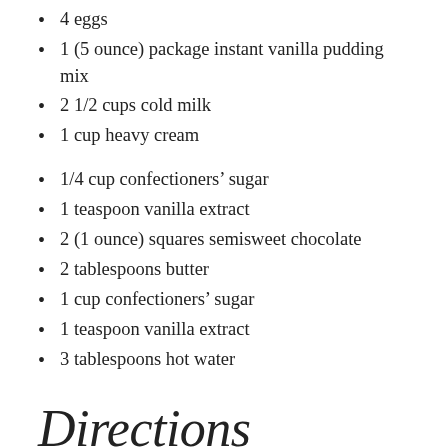4 eggs
1 (5 ounce) package instant vanilla pudding mix
2 1/2 cups cold milk
1 cup heavy cream
1/4 cup confectioners’ sugar
1 teaspoon vanilla extract
2 (1 ounce) squares semisweet chocolate
2 tablespoons butter
1 cup confectioners’ sugar
1 teaspoon vanilla extract
3 tablespoons hot water
Directions
Preheat oven to 450 degrees F (230 degrees C).